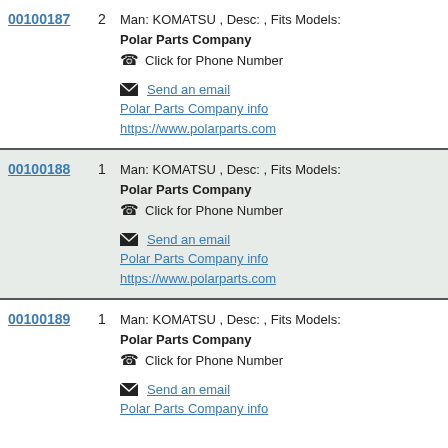00100187 | 2 | Man: KOMATSU , Desc: , Fits Models: | Polar Parts Company | Click for Phone Number | Send an email | Polar Parts Company info | https://www.polarparts.com
00100188 | 1 | Man: KOMATSU , Desc: , Fits Models: | Polar Parts Company | Click for Phone Number | Send an email | Polar Parts Company info | https://www.polarparts.com
00100189 | 1 | Man: KOMATSU , Desc: , Fits Models: | Polar Parts Company | Click for Phone Number | Send an email | Polar Parts Company info